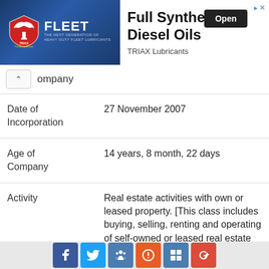[Figure (screenshot): Advertisement banner for TRIAX Fleet Full Synthetic Diesel Oils with logo on left and Open button on right]
Company
| Date of Incorporation | 27 November 2007 |
| Age of Company | 14 years, 8 month, 22 days |
| Activity | Real estate activities with own or leased property. [This class includes buying, selling, renting and operating of self-owned or leased real estate such as |
[Figure (screenshot): Social media share bar with Facebook, Twitter, LinkedIn, StumbleUpon, Delicious, and Google+ icons]